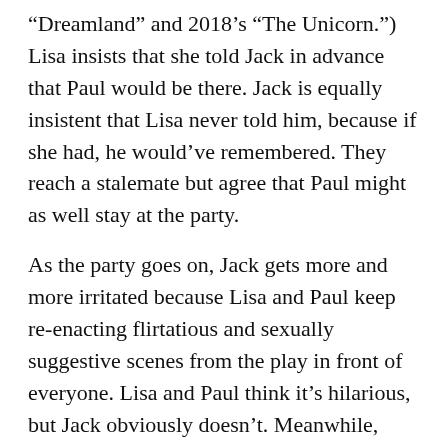“Dreamland” and 2018’s “The Unicorn.”) Lisa insists that she told Jack in advance that Paul would be there. Jack is equally insistent that Lisa never told him, because if she had, he would’ve remembered. They reach a stalemate but agree that Paul might as well stay at the party.
As the party goes on, Jack gets more and more irritated because Lisa and Paul keep re-enacting flirtatious and sexually suggestive scenes from the play in front of everyone. Lisa and Paul think it’s hilarious, but Jack obviously doesn’t. Meanwhile, Sarah looks very bored, Brett tries to keep things friendly with everyone, and Trina starts drinking enough alcohol to get tipsy and overly talkative. Trina mentions that she and Paul (who has a day job as a fitness instructor) got together as a couple because she signed up for one of his fitness classes, in the hopes that he would notice her and want to date her.